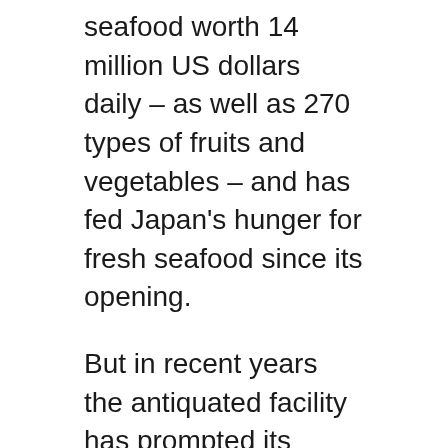seafood worth 14 million US dollars  daily – as well as 270 types of fruits and vegetables – and has fed Japan's hunger for fresh seafood since its opening.
But in recent years the antiquated facility has prompted its users, such as seafood wholesalers, to voice concerns about its earthquake resistance, sanitation and fire safety, as well as the structure's use of asbestos and its crumbling walls.
They have also called for upgraded technology, such as better refrigeration systems.
However, the move, originally slated for late 2016, also faced loud opposition from